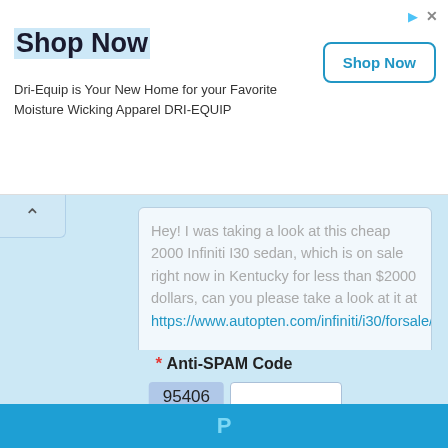[Figure (screenshot): Advertisement banner for Dri-Equip with Shop Now button]
Shop Now
Dri-Equip is Your New Home for your Favorite Moisture Wicking Apparel DRI-EQUIP
Hey! I was taking a look at this cheap 2000 Infiniti I30 sedan, which is on sale right now in Kentucky for less than $2000 dollars, can you please take a look at it at https://www.autopten.com/infiniti/i30/forsale/ky/12…
* Let me know what you think...
By Email or Facebook
By Phone, Call Me!
* Anti-SPAM Code
95406